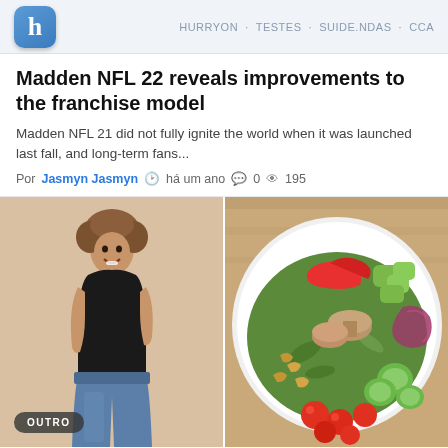h  HURRYON · TESTES · SUIDE.NDAS · CCA
Madden NFL 22 reveals improvements to the franchise model
Madden NFL 21 did not fully ignite the world when it was launched last fall, and long-term fans...
Por Jasmyn Jasmyn  há um ano  0  195
[Figure (photo): Woman in black tank top wearing oversized jeans, smiling, with an OUTRO badge overlay]
[Figure (photo): Overhead view of a colorful salad bowl with avocado, red pepper, tomatoes, mushrooms, nuts, arugula, red onion, and cucumber]